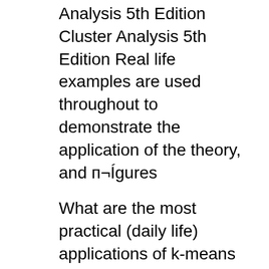Analysis 5th Edition Cluster Analysis 5th Edition Real life examples are used throughout to demonstrate the application of the theory, and п¬Ígures
What are the most practical (daily life) applications of k-means clustering algorithm? How exactly has k-means been used in Lets take document clustering for example. What are the most practical (daily life) applications of k-means clustering algorithm? How exactly has k-means been used in Lets take document clustering for example.
Cluster analysis can aid in identifying subgroups of patients with similar patterns of comorbid conditions for